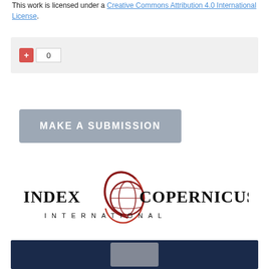This work is licensed under a Creative Commons Attribution 4.0 International License.
[Figure (screenshot): Vote counter UI widget with a red plus button and a count box showing 0]
[Figure (screenshot): Gray 'MAKE A SUBMISSION' button]
[Figure (logo): Index Copernicus International logo with globe icon]
[Figure (screenshot): Dark navy blue banner with a light gray element inside]